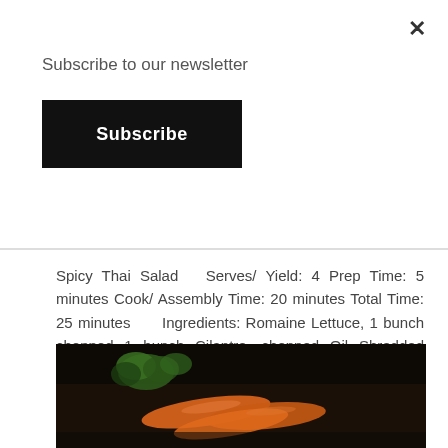Subscribe to our newsletter
Subscribe
Spicy Thai Salad   Serves/ Yield: 4 Prep Time: 5 minutes Cook/ Assembly Time: 20 minutes Total Time: 25 minutes     Ingredients: Romaine Lettuce, 1 bunch chopped 1 bunch Cilantro, chopped Oil Shredded carrots, one bag 1 red bell pepper, seeds and membranes discarded, thinly …
[Figure (photo): A close-up photo of fresh carrots with green tops on a dark background.]